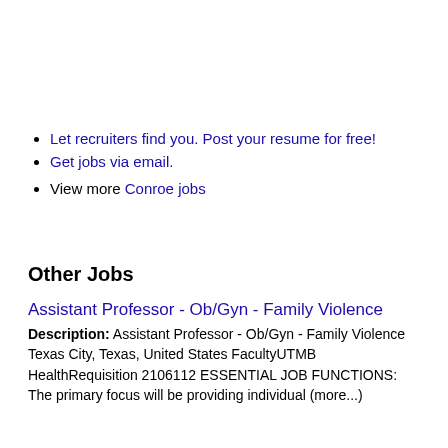Let recruiters find you. Post your resume for free!
Get jobs via email.
View more Conroe jobs
Other Jobs
Assistant Professor - Ob/Gyn - Family Violence
Description: Assistant Professor - Ob/Gyn - Family Violence Texas City, Texas, United States FacultyUTMB HealthRequisition 2106112 ESSENTIAL JOB FUNCTIONS: The primary focus will be providing individual (more...)